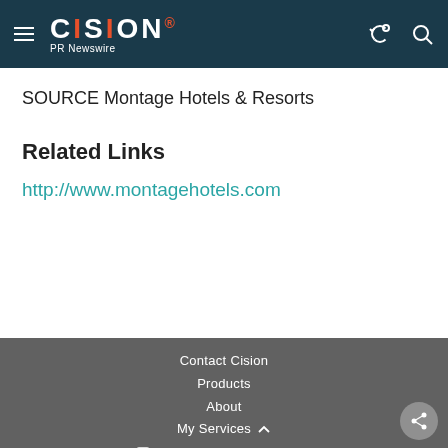CISION PR Newswire
SOURCE Montage Hotels & Resorts
Related Links
http://www.montagehotels.com
Contact Cision
Products
About
My Services
Cision Distribution Helpline
888-776-0942